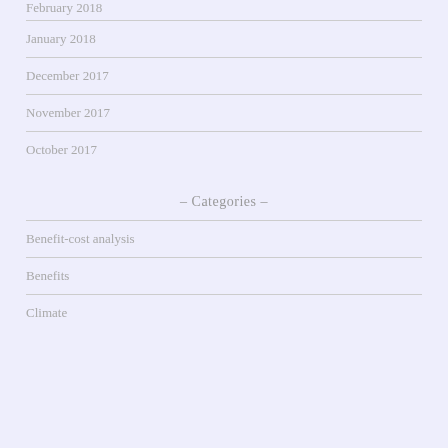February 2018
January 2018
December 2017
November 2017
October 2017
– Categories –
Benefit-cost analysis
Benefits
Climate